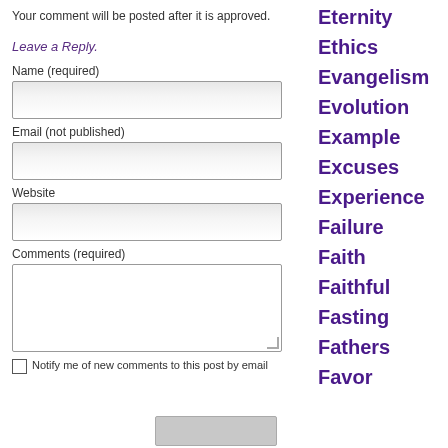Your comment will be posted after it is approved.
Leave a Reply.
Name (required)
Email (not published)
Website
Comments (required)
Notify me of new comments to this post by email
Eternity
Ethics
Evangelism
Evolution
Example
Excuses
Experience
Failure
Faith
Faithful
Fasting
Fathers
Favor